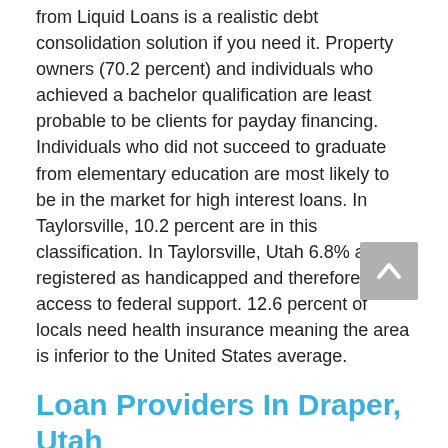from Liquid Loans is a realistic debt consolidation solution if you need it. Property owners (70.2 percent) and individuals who achieved a bachelor qualification are least probable to be clients for payday financing. Individuals who did not succeed to graduate from elementary education are most likely to be in the market for high interest loans. In Taylorsville, 10.2 percent are in this classification. In Taylorsville, Utah 6.8% are registered as handicapped and therefore have access to federal support. 12.6 percent of locals need health insurance meaning the area is inferior to the United States average.
Loan Providers In Draper, Utah
Individuals who have not succeeded to graduate from